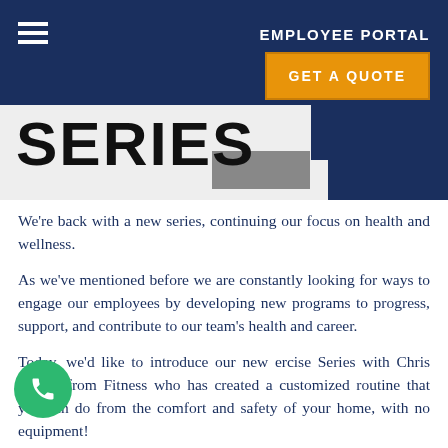EMPLOYEE PORTAL
[Figure (other): Orange GET A QUOTE button on dark navy navigation bar with hamburger menu icon]
SERIES
We're back with a new series, continuing our focus on health and wellness.
As we've mentioned before we are constantly looking for ways to engage our employees by developing new programs to progress, support, and contribute to our team's health and career.
Today, we'd like to introduce our new ercise Series with Chris Brown from Fitness who has created a customized routine that you can do from the comfort and safety of your home, with no equipment!